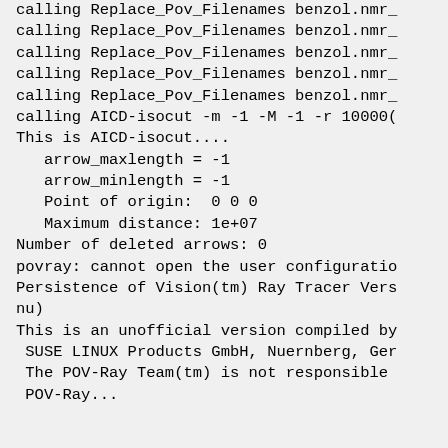calling Replace_Pov_Filenames benzol.nmr_
calling Replace_Pov_Filenames benzol.nmr_
calling Replace_Pov_Filenames benzol.nmr_
calling Replace_Pov_Filenames benzol.nmr_
calling Replace_Pov_Filenames benzol.nmr_
calling AICD-isocut -m -1 -M -1 -r 10000(
This is AICD-isocut....
   arrow_maxlength = -1
   arrow_minlength = -1
   Point of origin:  0 0 0
   Maximum distance: 1e+07
Number of deleted arrows: 0
povray: cannot open the user configuratio
Persistence of Vision(tm) Ray Tracer Vers
nu)
This is an unofficial version compiled by
 SUSE LINUX Products GmbH, Nuernberg, Ger
 The POV-Ray Team(tm) is not responsible
 POV-Ray...